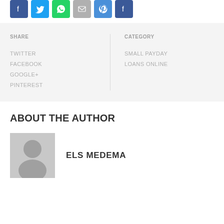[Figure (other): Social sharing icons: Facebook, Twitter, WhatsApp, Email, Pinterest, Facebook]
SHARE
TWITTER
FACEBOOK
GOOGLE+
PINTEREST
CATEGORY
SMALL PAYDAY LOANS ONLINE
ABOUT THE AUTHOR
[Figure (photo): Author avatar placeholder - grey silhouette of a person]
ELS MEDEMA